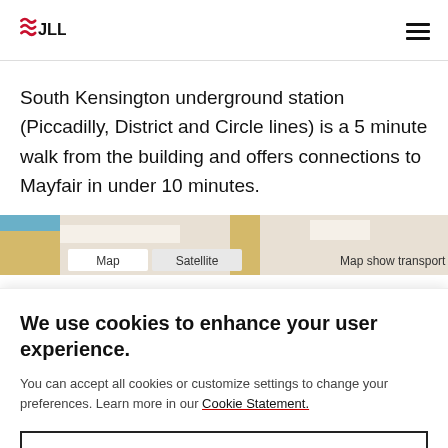JLL
South Kensington underground station (Piccadilly, District and Circle lines) is a 5 minute walk from the building and offers connections to Mayfair in under 10 minutes.
[Figure (map): Partial Google Map view showing South Kensington area with Map and Satellite toggle buttons and 'Map show transport' label]
We use cookies to enhance your user experience.
You can accept all cookies or customize settings to change your preferences. Learn more in our Cookie Statement.
Cookies Settings